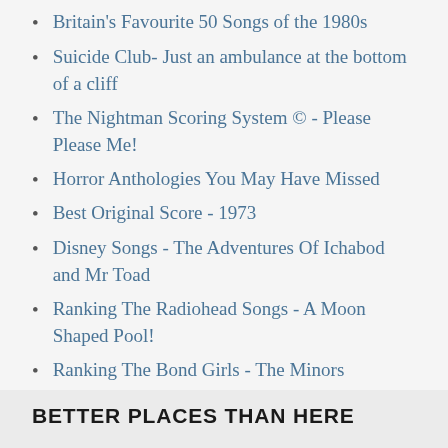Britain's Favourite 50 Songs of the 1980s
Suicide Club- Just an ambulance at the bottom of a cliff
The Nightman Scoring System © - Please Please Me!
Horror Anthologies You May Have Missed
Best Original Score - 1973
Disney Songs - The Adventures Of Ichabod and Mr Toad
Ranking The Radiohead Songs - A Moon Shaped Pool!
Ranking The Bond Girls - The Minors
Ranking The Radiohead Songs - Amnesiac!
BETTER PLACES THAN HERE